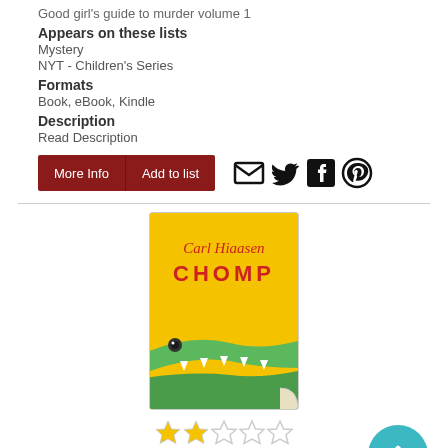Good girl's guide to murder volume 1
Appears on these lists
Mystery
NYT - Children's Series
Formats
Book, eBook, Kindle
Description
Read Description
[Figure (screenshot): Two buttons: 'More Info' and 'Add to list' in dark red, followed by email, Twitter, Facebook, and Pinterest social share icons]
[Figure (illustration): Book cover for 'Chomp' by Carl Hiaasen - yellow background with green alligator/crocodile jaws at bottom, red text]
[Figure (other): Star rating: 2 out of 5 stars filled yellow, 3 empty stars]
6) Chomp